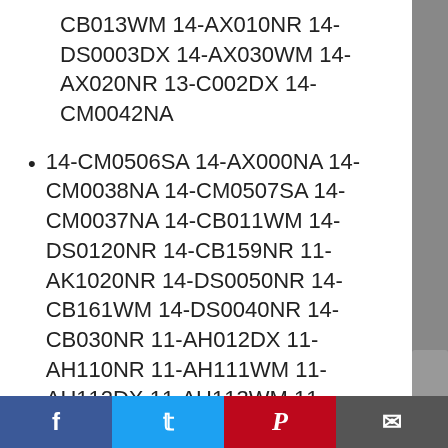CB013WM 14-AX010NR 14-DS0003DX 14-AX030WM 14-AX020NR 13-C002DX 14-CM0042NA
14-CM0506SA 14-AX000NA 14-CM0038NA 14-CM0507SA 14-CM0037NA 14-CB011WM 14-DS0120NR 14-CB159NR 11-AK1020NR 14-DS0050NR 14-CB161WM 14-DS0040NR 14-CB030NR 11-AH012DX 11-AH110NR 11-AH111WM 11-AH112DX 11-AH113WM 11-AH117WM 11-AH131NR 11-AH161MS 11-D001DX 11-D010NR 11-D010WM 11-